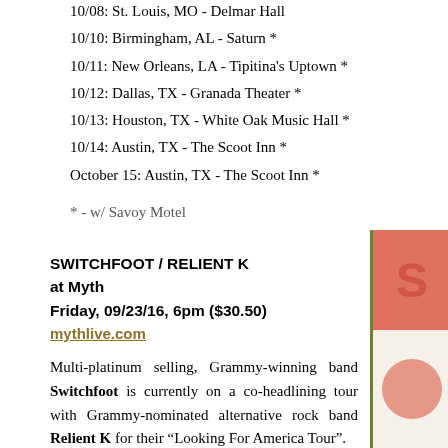10/08: St. Louis, MO - Delmar Hall
10/10: Birmingham, AL - Saturn *
10/11: New Orleans, LA - Tipitina's Uptown *
10/12: Dallas, TX - Granada Theater *
10/13: Houston, TX - White Oak Music Hall *
10/14: Austin, TX - The Scoot Inn *
October 15: Austin, TX - The Scoot Inn *
* - w/ Savoy Motel
SWITCHFOOT / RELIENT K
at Myth
Friday, 09/23/16, 6pm ($30.50)
mythlive.com
Multi-platinum selling, Grammy-winning band Switchfoot is currently on a co-headlining tour with Grammy-nominated alternative rock band Relient K for their “Looking For America Tour”.
Switchfoot’s latest Where The Light Shines Through is out now on Vanguard Records, while Relient K’s new album Air For Free is available on Gotee Records.
Please note start time (6pm).
Tour dates: